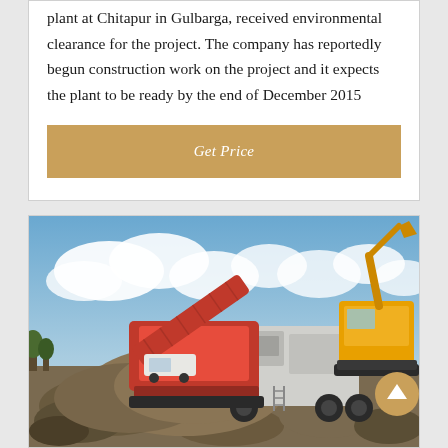plant at Chitapur in Gulbarga, received environmental clearance for the project. The company has reportedly begun construction work on the project and it expects the plant to be ready by the end of December 2015
Get Price
[Figure (photo): Outdoor construction site photograph showing large red industrial crushing/processing machinery with a conveyor arm extended, alongside a yellow excavator, with piles of rubble/aggregate in the foreground and a cloudy blue sky in the background.]